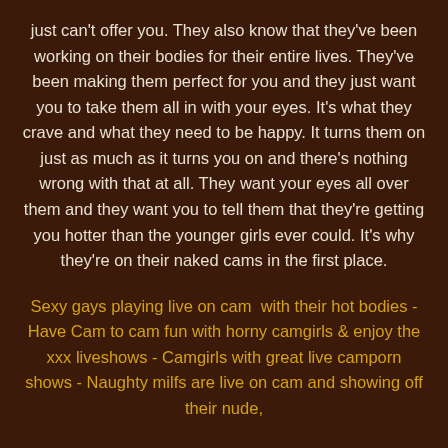just can't offer you. They also know that they've been working on their bodies for their entire lives. They've been making them perfect for you and they just want you to take them all in with your eyes. It's what they crave and what they need to be happy. It turns them on just as much as it turns you on and there's nothing wrong with that at all. They want your eyes all over them and they want you to tell them that they're getting you hotter than the younger girls ever could. It's why they're on their naked cams in the first place.
Sexy gays playing live on cam  with their hot bodies - Have Cam to cam fun with horny camgirls & enjoy the xxx liveshows - Camgirls with great live camporn shows - Naughty milfs are live on cam and showing off their nude,